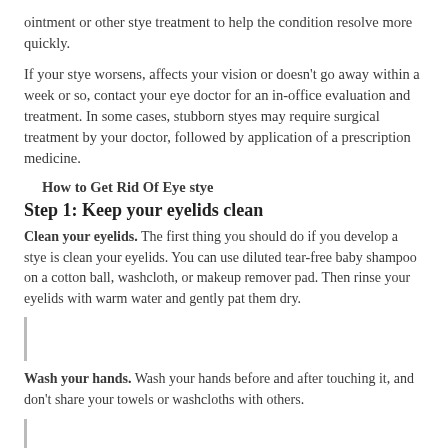ointment or other stye treatment to help the condition resolve more quickly.
If your stye worsens, affects your vision or doesn't go away within a week or so, contact your eye doctor for an in-office evaluation and treatment. In some cases, stubborn styes may require surgical treatment by your doctor, followed by application of a prescription medicine.
How to Get Rid Of Eye stye
Step 1: Keep your eyelids clean
Clean your eyelids. The first thing you should do if you develop a stye is clean your eyelids. You can use diluted tear-free baby shampoo on a cotton ball, washcloth, or makeup remover pad. Then rinse your eyelids with warm water and gently pat them dry.
Wash your hands. Wash your hands before and after touching it, and don't share your towels or washcloths with others.
Use a cleansing pad. Pre-moistened eyelid cleansing pads are another option. You can find these non-prescription items in most drugstores.